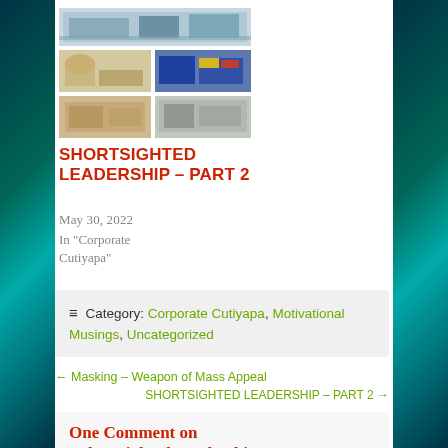[Figure (photo): Collage of commercial/retail building photos arranged in a grid]
SHORTSIGHTED LEADERSHIP – PART 2
May 30, 2022
In "Corporate Cutiyapa"
≡ Category: Corporate Cutiyapa, Motivational Musings, Uncategorized
← Masking – Weapon of Mass Appeal
SHORTSIGHTED LEADERSHIP – PART 2 →
One Comment on "Shortsighted Leadership